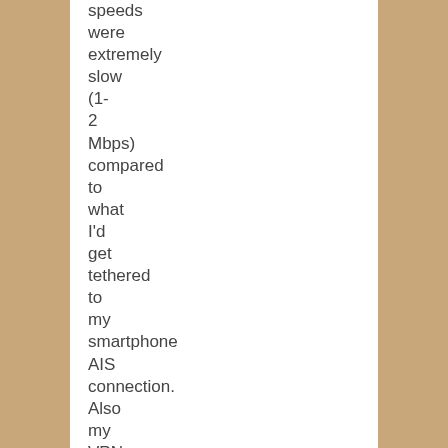speeds were extremely slow (1-2 Mbps) compared to what I'd get tethered to my smartphone AIS connection. Also my VPN would disconnect